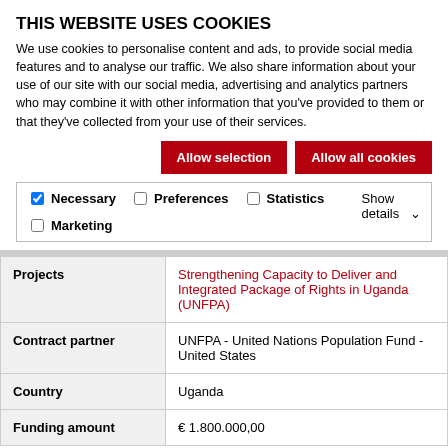THIS WEBSITE USES COOKIES
We use cookies to personalise content and ads, to provide social media features and to analyse our traffic. We also share information about your use of our site with our social media, advertising and analytics partners who may combine it with other information that you've provided to them or that they've collected from your use of their services.
| Projects | Strengthening Capacity to Deliver and Integrated Package of Rights in Uganda (UNFPA) |
| Contract partner | UNFPA - United Nations Population Fund - United States |
| Country | Uganda |
| Funding amount | € 1.800.000,00 |